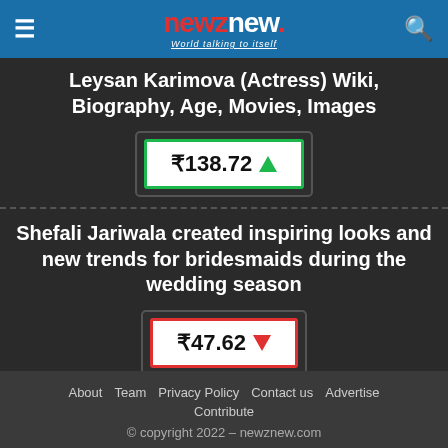newznew. World talking to itself
Leysan Karimova (Actress) Wiki, Biography, Age, Movies, Images
[Figure (infographic): Price badge showing ₹138.72 with green upward arrow indicator]
Shefali Jariwala created inspiring looks and new trends for bridesmaids during the wedding season
[Figure (infographic): Price badge showing ₹47.62 with red downward arrow indicator]
About   Team   Privacy Policy   Contact us   Advertise   Contribute
© copyright 2022 – newznew.com